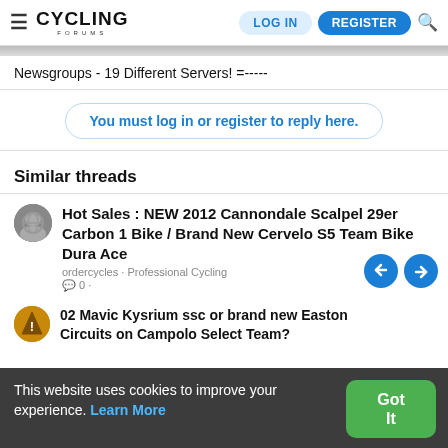Cycling Forums | LOG IN | REGISTER
Newsgroups - 19 Different Servers! =-----
You must log in or register to reply here.
Similar threads
Hot Sales : NEW 2012 Cannondale Scalpel 29er Carbon 1 Bike / Brand New Cervelo S5 Team Bike Dura Ace
ordercycles · Professional Cycling · 0 ·
This website uses cookies to improve your experience. Learn More
02 Mavic Kysrium ssc or brand new Easton Circuits on Campolo Select Team?